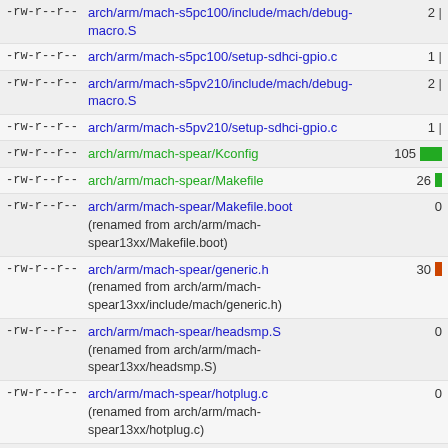| permissions | filename | stat |
| --- | --- | --- |
| -rw-r--r-- | arch/arm/mach-s5pc100/include/mach/debug-macro.S | 2 | |
| -rw-r--r-- | arch/arm/mach-s5pc100/setup-sdhci-gpio.c | 1 | |
| -rw-r--r-- | arch/arm/mach-s5pv210/include/mach/debug-macro.S | 2 | |
| -rw-r--r-- | arch/arm/mach-s5pv210/setup-sdhci-gpio.c | 1 | |
| -rw-r--r-- | arch/arm/mach-spear/Kconfig | 105 [green bar] |
| -rw-r--r-- | arch/arm/mach-spear/Makefile | 26 [green bar] |
| -rw-r--r-- | arch/arm/mach-spear/Makefile.boot (renamed from arch/arm/mach-spear13xx/Makefile.boot) | 0 |
| -rw-r--r-- | arch/arm/mach-spear/generic.h (renamed from arch/arm/mach-spear13xx/include/mach/generic.h) | 30 [red bar] |
| -rw-r--r-- | arch/arm/mach-spear/headsmp.S (renamed from arch/arm/mach-spear13xx/headsmp.S) | 0 |
| -rw-r--r-- | arch/arm/mach-spear/hotplug.c (renamed from arch/arm/mach-spear13xx/hotplug.c) | 0 |
| -rw-r--r-- | arch/arm/mach-spear/include/mach/debug-macro.S (renamed from arch/arm/plat-spear/include/plat/debug-macro.S) | 0 |
| -rw-r--r-- | arch/arm/mach- |  |